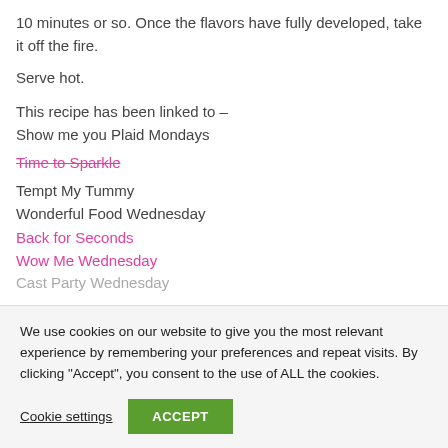10 minutes or so. Once the flavors have fully developed, take it off the fire.
Serve hot.
This recipe has been linked to –
Show me you Plaid Mondays
Time to Sparkle
Tempt My Tummy
Wonderful Food Wednesday
Back for Seconds
Wow Me Wednesday
Cast Party Wednesday
We use cookies on our website to give you the most relevant experience by remembering your preferences and repeat visits. By clicking "Accept", you consent to the use of ALL the cookies.
Cookie settings  ACCEPT